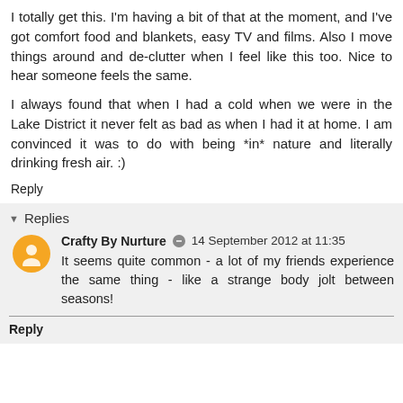I totally get this. I'm having a bit of that at the moment, and I've got comfort food and blankets, easy TV and films. Also I move things around and de-clutter when I feel like this too. Nice to hear someone feels the same.
I always found that when I had a cold when we were in the Lake District it never felt as bad as when I had it at home. I am convinced it was to do with being *in* nature and literally drinking fresh air. :)
Reply
Replies
Crafty By Nurture  14 September 2012 at 11:35
It seems quite common - a lot of my friends experience the same thing - like a strange body jolt between seasons!
Reply